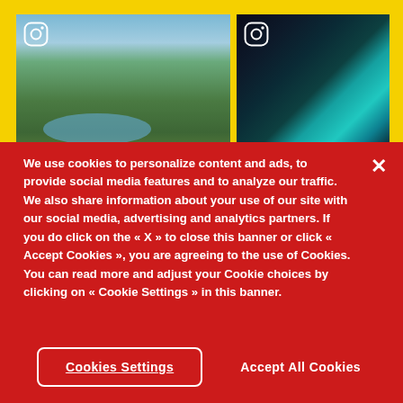[Figure (photo): Aerial landscape photo showing coastal islands and tropical forests with misty mountains, with Instagram icon overlay]
[Figure (photo): Abstract aurora borealis or neon light streaks on dark background, with Instagram icon overlay]
We use cookies to personalize content and ads, to provide social media features and to analyze our traffic. We also share information about your use of our site with our social media, advertising and analytics partners. If you do click on the « X » to close this banner or click « Accept Cookies », you are agreeing to the use of Cookies. You can read more and adjust your Cookie choices by clicking on « Cookie Settings » in this banner.
Cookies Settings
Accept All Cookies